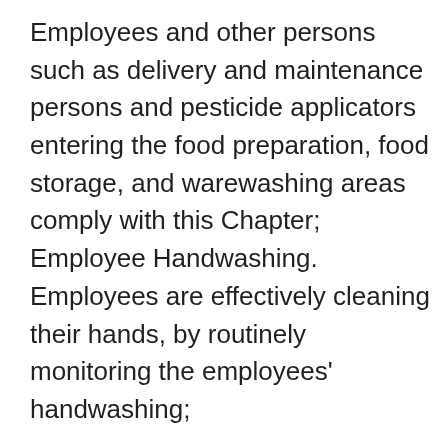Employees and other persons such as delivery and maintenance persons and pesticide applicators entering the food preparation, food storage, and warewashing areas comply with this Chapter; Employee Handwashing. Employees are effectively cleaning their hands, by routinely monitoring the employees' handwashing;
Proper Cooking Techniques. Employees are properly cooking cold/hot holding, and reheating for hot holding time/temperature control for safety food, being particularly careful in